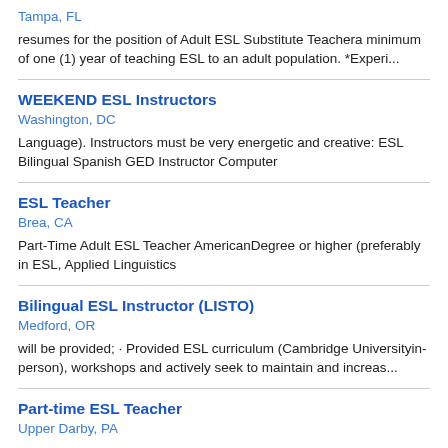Tampa, FL
resumes for the position of Adult ESL Substitute Teachera minimum of one (1) year of teaching ESL to an adult population. *Experi...
WEEKEND ESL Instructors
Washington, DC
Language). Instructors must be very energetic and creative: ESL Bilingual Spanish GED Instructor Computer
ESL Teacher
Brea, CA
Part-Time Adult ESL Teacher AmericanDegree or higher (preferably in ESL, Applied Linguistics
Bilingual ESL Instructor (LISTO)
Medford, OR
will be provided; &middot; Provided ESL curriculum (Cambridge Universityin-person), workshops and actively seek to maintain and increas...
Part-time ESL Teacher
Upper Darby, PA